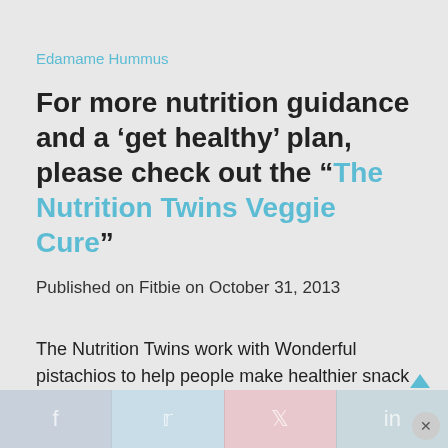Edamame Hummus
For more nutrition guidance and a ‘get healthy’ plan, please check out the “The Nutrition Twins Veggie Cure”
Published on Fitbie on October 31, 2013
The Nutrition Twins work with Wonderful pistachios to help people make healthier snack choices.